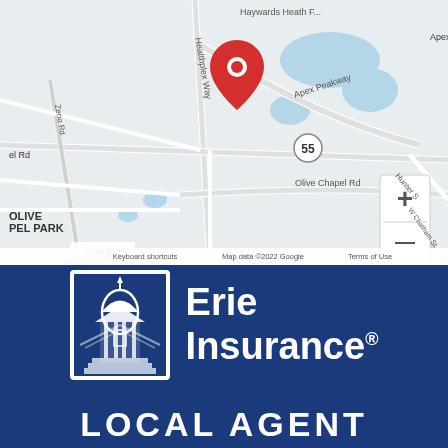[Figure (map): Google Maps screenshot showing area around Apex, NC with neighborhoods: Golders Green, Hunter Valley, Peakway Village, Glen Arbor, Olive Chapel Park. Red location pin near center. Roads include Healthplex Way, Apex Peakway, Olive Chapel Rd, Zeno Rd. Route 55 visible. Map controls (+ and -) shown. Bottom labels: Keyboard shortcuts, Map data ©2022 Google, Terms of Use.]
[Figure (logo): Erie Insurance logo: white building/dome icon in a white-bordered rectangle, with 'Erie Insurance' text in white to the right, registered trademark symbol. On dark blue background.]
LOCAL AGENT